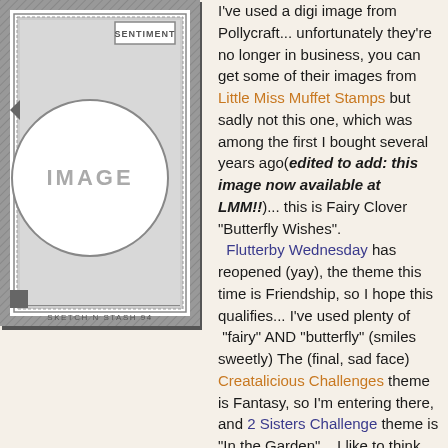[Figure (illustration): Sketch N Stash 94 card sketch diagram showing a card layout with a circle labeled IMAGE in the center, a SENTIMENT box in the upper right, decorative borders and hatching around the edges, and 'SKETCH N STASH 94' text at the bottom.]
I've used a digi image from Pollycraft... unfortunately they're no longer in business, you can get some of their images from Little Miss Muffet Stamps but sadly not this one, which was among the first I bought several years ago(edited to add: this image now available at LMM!!)... this is Fairy Clover "Butterfly Wishes". Flutterby Wednesday has reopened (yay), the theme this time is Friendship, so I hope this qualifies... I've used plenty of "fairy" AND "butterfly" (smiles sweetly) The (final, sad face) Creatalicious Challenges theme is Fantasy, so I'm entering there, and 2 Sisters Challenge theme is "In the Garden"... I like to think there are fairies at the bottom of MY garden, so in there as well.
I've coloured with Prisamcolor pencils... well technically I've coloured with watercolour pencils THEN Prismacolors; I coloured the image originally ages ago... before I even had